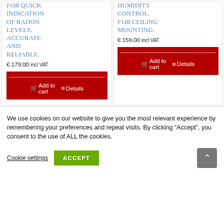FOR QUICK INDICATION OF RADON LEVELS. ACCURATE AND RELIABLE.
€ 179.00 incl VAT
Add to cart
Details
HUMIDITY CONTROL. FOR CEILING MOUNTING.
€ 159.00 incl VAT
Add to cart
Details
We use cookies on our website to give you the most relevant experience by remembering your preferences and repeat visits. By clicking "Accept", you consent to the use of ALL the cookies.
Cookie settings
ACCEPT